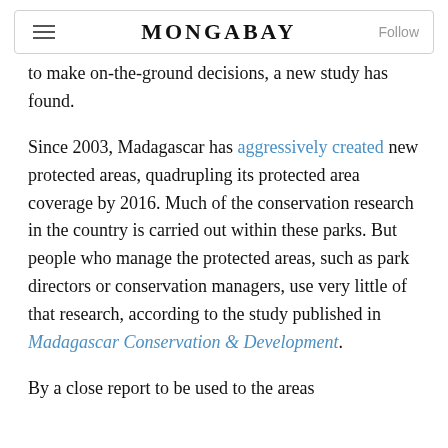MONGABAY
to make on-the-ground decisions, a new study has found.
Since 2003, Madagascar has aggressively created new protected areas, quadrupling its protected area coverage by 2016. Much of the conservation research in the country is carried out within these parks. But people who manage the protected areas, such as park directors or conservation managers, use very little of that research, according to the study published in Madagascar Conservation & Development.
By a close report to be used to the areas...